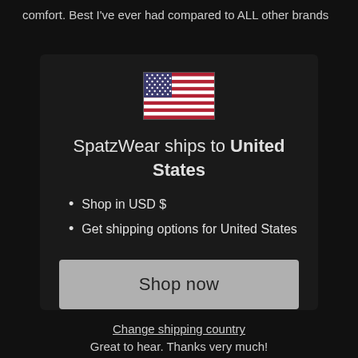comfort. Best I've ever had compared to ALL other brands
[Figure (illustration): US flag icon used as a country selector in a shipping modal]
SpatzWear ships to United States
Shop in USD $
Get shipping options for United States
Shop now
Change shipping country
Great to hear. Thanks very much!